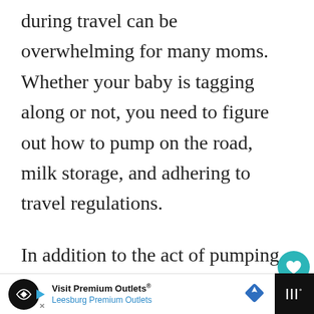during travel can be overwhelming for many moms. Whether your baby is tagging along or not, you need to figure out how to pump on the road, milk storage, and adhering to travel regulations.
In addition to the act of pumping on-the-go, you may be traveling with previously pumped milk that needs to stay frozen for the remainder of the trip, or you may have freshly pumped milk that needs to remain...
[Figure (screenshot): Advertisement banner for Visit Premium Outlets - Leesburg Premium Outlets, with logo, navigation arrow icon, and diamond-shaped map pin icon]